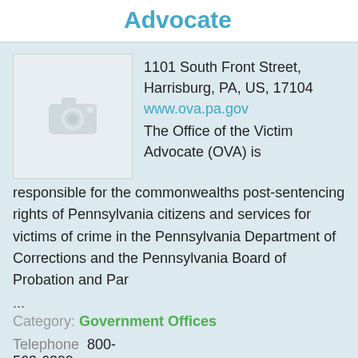Advocate
[Figure (photo): Placeholder image with camera icon]
1101 South Front Street, Harrisburg, PA, US, 17104
www.ova.pa.gov
The Office of the Victim Advocate (OVA) is responsible for the commonwealths post-sentencing rights of Pennsylvania citizens and services for victims of crime in the Pennsylvania Department of Corrections and the Pennsylvania Board of Probation and Par
...
Category: Government Offices
Telephone  800-563-6399